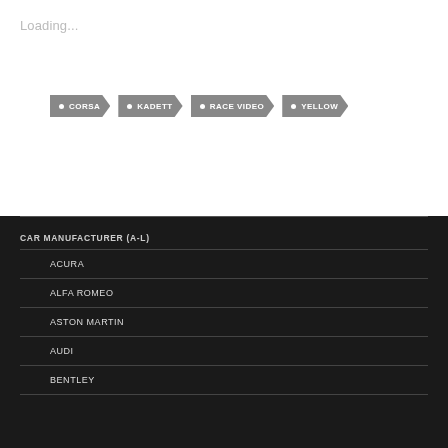Loading...
CORSA
KADETT
RACE VIDEO
YELLOW
CAR MANUFACTURER (A-L)
ACURA
ALFA ROMEO
ASTON MARTIN
AUDI
BENTLEY